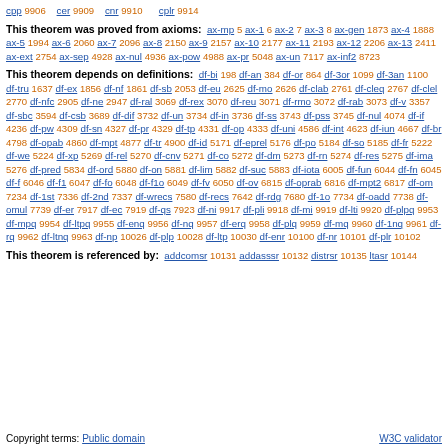cpp 9906  cer 9909  cnr 9910  cplr 9914
This theorem was proved from axioms: ax-mp 5 ax-1 6 ax-2 7 ax-3 8 ax-gen 1873 ax-4 1888 ax-5 1994 ax-6 2060 ax-7 2096 ax-8 2150 ax-9 2157 ax-10 2177 ax-11 2193 ax-12 2206 ax-13 2411 ax-ext 2754 ax-sep 4928 ax-nul 4936 ax-pow 4988 ax-pr 5048 ax-un 7117 ax-inf2 8723
This theorem depends on definitions: df-bi 198 df-an 384 df-or 864 df-3or 1099 df-3an 1100 df-tru 1637 df-ex 1856 df-nf 1861 df-sb 2053 df-eu 2625 df-mo 2626 df-clab 2761 df-cleq 2767 df-clel 2770 df-nfc 2905 df-ne 2947 df-ral 3069 df-rex 3070 df-reu 3071 df-rmo 3072 df-rab 3073 df-v 3357 df-sbc 3594 df-csb 3689 df-dif 3732 df-un 3734 df-in 3736 df-ss 3743 df-pss 3745 df-nul 4074 df-if 4236 df-pw 4309 df-sn 4327 df-pr 4329 df-tp 4331 df-op 4333 df-uni 4586 df-int 4623 df-iun 4667 df-br 4798 df-opab 4860 df-mpt 4877 df-tr 4900 df-id 5171 df-eprel 5176 df-po 5184 df-so 5185 df-fr 5222 df-we 5224 df-xp 5269 df-rel 5270 df-cnv 5271 df-co 5272 df-dm 5273 df-rn 5274 df-res 5275 df-ima 5276 df-pred 5834 df-ord 5880 df-on 5881 df-lim 5882 df-suc 5883 df-iota 6005 df-fun 6044 df-fn 6045 df-f 6046 df-f1 6047 df-fo 6048 df-f1o 6049 df-fv 6050 df-ov 6815 df-oprab 6816 df-mpt2 6817 df-om 7234 df-1st 7336 df-2nd 7337 df-wrecs 7580 df-recs 7642 df-rdg 7680 df-1o 7734 df-oadd 7738 df-omul 7739 df-er 7917 df-ec 7919 df-qs 7923 df-ni 9917 df-pli 9918 df-mi 9919 df-lti 9920 df-plpq 9953 df-mpq 9954 df-ltpq 9955 df-enq 9956 df-nq 9957 df-erq 9958 df-plq 9959 df-mq 9960 df-1nq 9961 df-rq 9962 df-ltnq 9963 df-np 10026 df-plp 10028 df-ltp 10030 df-enr 10100 df-nr 10101 df-plr 10102
This theorem is referenced by: addcomsr 10131 addasssr 10132 distrsr 10135 ltasr 10144
Copyright terms: Public domain    W3C validator